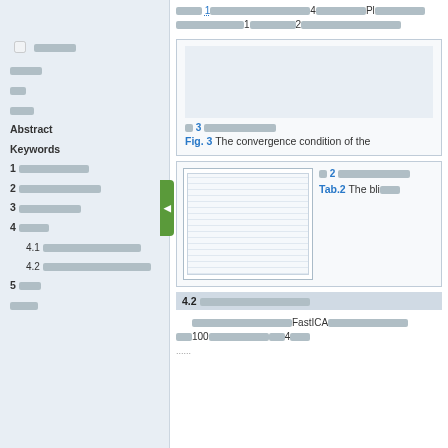[checkbox] (redacted)
(redacted section label)
(redacted)
(redacted)
Abstract
Keywords
1 (redacted section)
2 (redacted section)
3 (redacted section)
4 (redacted section)
4.1 (redacted subsection)
4.2 (redacted subsection)
5 (redacted)
(redacted)
(redacted) 1 (redacted) 4 (redacted) PI (redacted) 1 (redacted) 2 (redacted)
[Figure (other): Figure 3 placeholder image area]
Fig. 3 The convergence condition of the ...
[Figure (table-as-image): Tab.2 thumbnail table image]
Tab.2 The bli...
4.2 (redacted subsection title)
(redacted) FastICA (redacted) 100 (redacted) 4 (redacted)